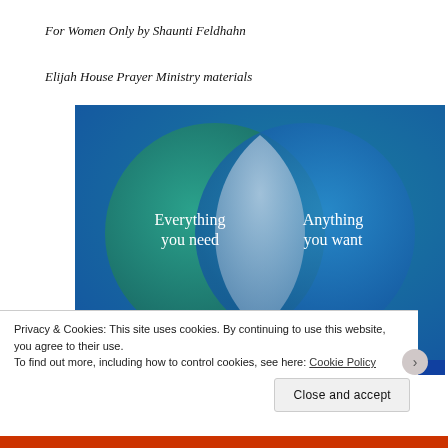For Women Only by Shaunti Feldhahn
Elijah House Prayer Ministry materials
[Figure (infographic): Venn diagram on blue/teal background showing two overlapping circles. Left circle (teal/green) contains text 'Everything you need'. Right circle (blue) contains text 'Anything you want'. The overlapping intersection area is lighter blue/grey. At the bottom a pink/magenta bar is partially visible.]
Privacy & Cookies: This site uses cookies. By continuing to use this website, you agree to their use.
To find out more, including how to control cookies, see here: Cookie Policy
Close and accept